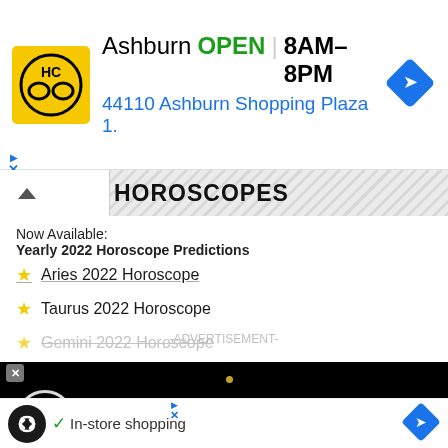[Figure (screenshot): Advertisement banner: HC logo (yellow background), 'Ashburn OPEN 8AM-8PM' and '44110 Ashburn Shopping Plaza 1.' with navigation diamond icon]
HOROSCOPES
Now Available:
Yearly 2022 Horoscope Predictions
Aries 2022 Horoscope
Taurus 2022 Horoscope
Gemini 2022 Horoscope (partially visible, struck through)
-ADVERTISEMENT-
Cancer 2022 Horoscope
[Figure (screenshot): Video player overlay on black background showing 'How To Open 7 Chakras - Meditation and Healing - SunSigns.Org' with circular play icon]
Sagittarius 2022 Horoscope
Capricorn 2022 Horoscope
Aquarius 2022 Horoscope
Pisces 2022 Horoscope
[Figure (screenshot): Bottom ad bar: loop/infinity icon, checkmark 'In-store shopping', navigation diamond icon]